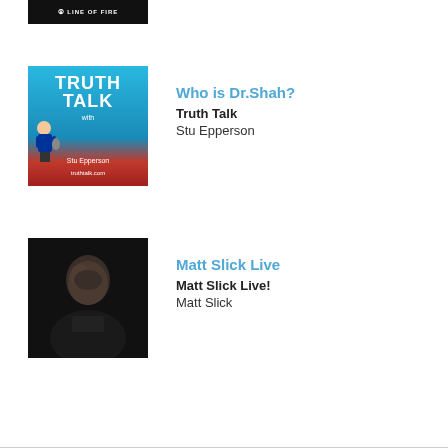[Figure (photo): Line of Fire podcast logo — dark background with 'LINE OF FIRE with Dr. Michael Brown' text]
[Figure (illustration): Truth Talk podcast logo with cartoon Stu Epperson holding microphone on blue background, truthtalk.com]
Who is Dr.Shah?
Truth Talk
Stu Epperson
[Figure (photo): Black and white photo of Matt Slick speaking on dark stage]
Matt Slick Live
Matt Slick Live!
Matt Slick